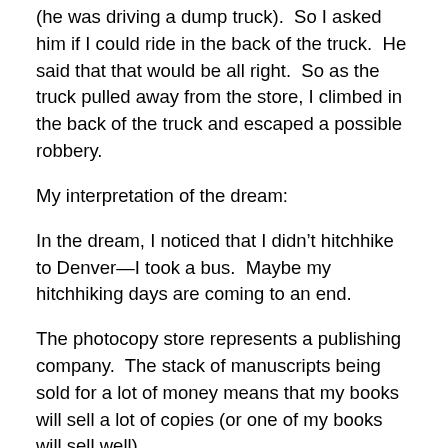(he was driving a dump truck).  So I asked him if I could ride in the back of the truck.  He said that that would be all right.  So as the truck pulled away from the store, I climbed in the back of the truck and escaped a possible robbery.
My interpretation of the dream:
In the dream, I noticed that I didn't hitchhike to Denver—I took a bus.  Maybe my hitchhiking days are coming to an end.
The photocopy store represents a publishing company.  The stack of manuscripts being sold for a lot of money means that my books will sell a lot of copies (or one of my books will sell well).
The photocopy store was in Denver, Colorado.  Maybe this